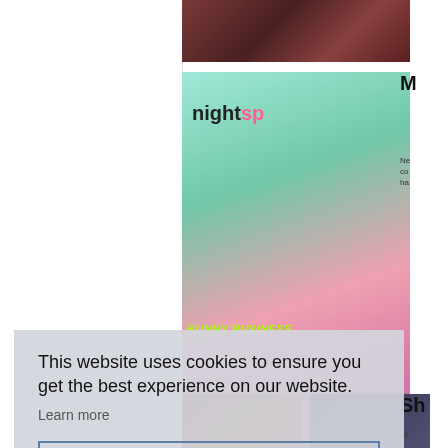[Figure (photo): Top photo showing people, partially visible at top of right column]
[Figure (photo): Magazine cover for 'Nightspot' with Easter bunny themed cover, person wearing bunny mask with 'BUNNY BUSINESS' text]
M
Ne co ha
[Figure (photo): Bottom left photo, partially visible]
[Figure (photo): Bottom right photo, partially visible]
Sh
At
This website uses cookies to ensure you get the best experience on our website.
Learn more
Got it!